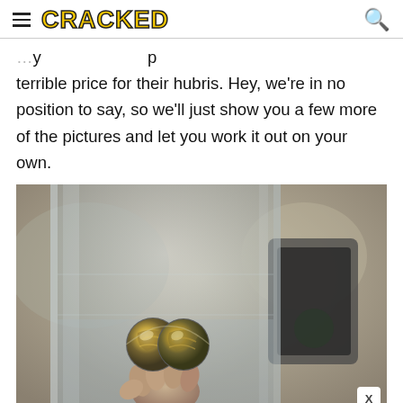CRACKED
terrible price for their hubris. Hey, we're in no position to say, so we'll just show you a few more of the pictures and let you work it out on your own.
[Figure (photo): A hand holds two metallic ball bearings with iridescent swirling patterns, inside a glass jar or container filled with water or liquid. A dark rectangular electronic device is visible in the background to the right.]